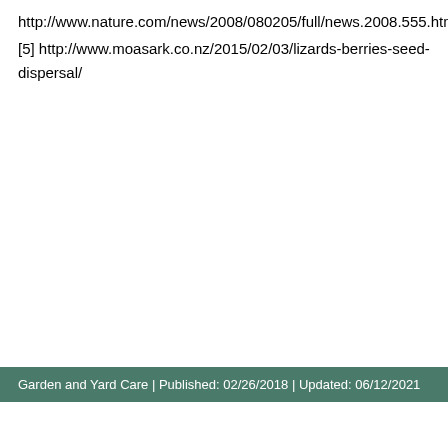http://www.nature.com/news/2008/080205/full/news.2008.555.htm
[5] http://www.moasark.co.nz/2015/02/03/lizards-berries-seed-dispersal/
Garden and Yard Care | Published: 02/26/2018 | Updated: 06/12/2021